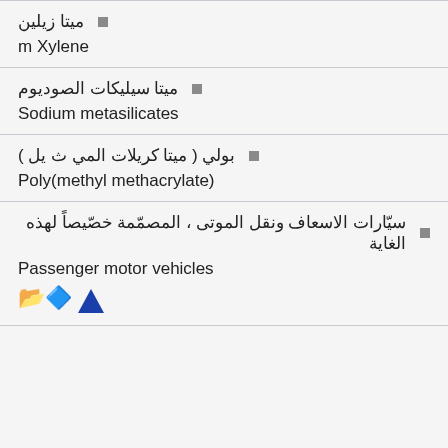ميتا زيلين / m Xylene
ميتا سيليكات الصوديوم / Sodium metasilicates
بولي ( ميتا كريلات المي ث يل ) / Poly(methyl methacrylate)
سيّارات الاسعاف ونقل الموتى ، المصمّمة خصّيصاً لهذه الغاية / Passenger motor vehicles